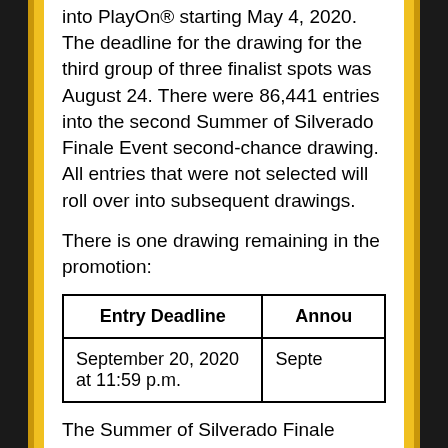into PlayOn® starting May 4, 2020. The deadline for the drawing for the third group of three finalist spots was August 24. There were 86,441 entries into the second Summer of Silverado Finale Event second-chance drawing. All entries that were not selected will roll over into subsequent drawings.
There is one drawing remaining in the promotion:
| Entry Deadline | Annou... |
| --- | --- |
| September 20, 2020 at 11:59 p.m. | Septe... |
The Summer of Silverado Finale Event will be on October 10, 2020, at a